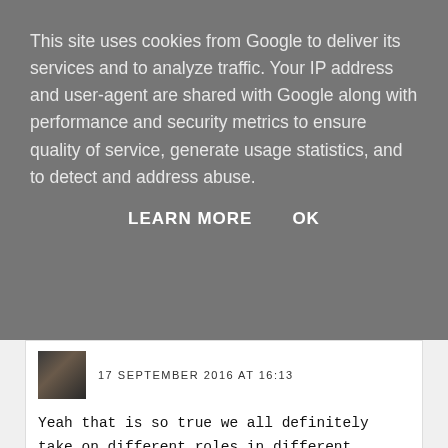This site uses cookies from Google to deliver its services and to analyze traffic. Your IP address and user-agent are shared with Google along with performance and security metrics to ensure quality of service, generate usage statistics, and to detect and address abuse.
LEARN MORE   OK
17 SEPTEMBER 2016 AT 16:13
Yeah that is so true we all definitely take on different roles in different contexts so I should just think of it that way :) xx
REPLY
Gemma
16 SEPTEMBER 2016 AT 18:38